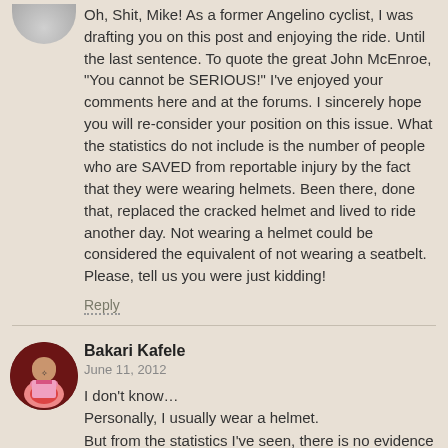[Figure (illustration): Gray circular avatar placeholder, partially cropped at top]
Oh, Shit, Mike! As a former Angelino cyclist, I was drafting you on this post and enjoying the ride. Until the last sentence. To quote the great John McEnroe, "You cannot be SERIOUS!" I've enjoyed your comments here and at the forums. I sincerely hope you will re-consider your position on this issue. What the statistics do not include is the number of people who are SAVED from reportable injury by the fact that they were wearing helmets. Been there, done that, replaced the cracked helmet and lived to ride another day. Not wearing a helmet could be considered the equivalent of not wearing a seatbelt. Please, tell us you were just kidding!
Reply
[Figure (photo): Circular avatar photo of Bakari Kafele — person in pink outfit on dark red background]
Bakari Kafele
June 11, 2012
I don't know…
Personally, I usually wear a helmet.
But from the statistics I've seen, there is no evidence they actually help overall.
The theory is that both riders and drivers risk